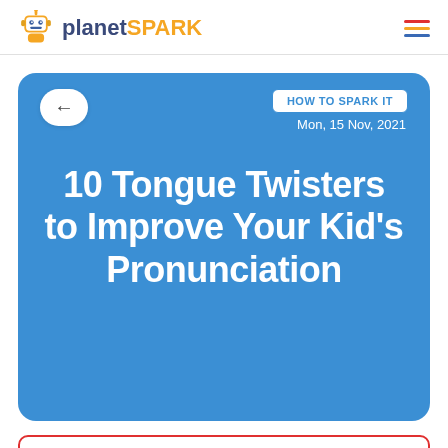PlanetSpark
[Figure (other): Blue card with back arrow, HOW TO SPARK IT badge, date Mon 15 Nov 2021, and large title text '10 Tongue Twisters to Improve Your Kid's Pronunciation']
BOOK YOUR FREE TRIAL